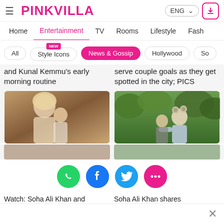PINKVILLA — ENG
Home | Entertainment | TV | Rooms | Lifestyle | Fash
All | Style Icons (NEW) | News & Gossip | Hollywood | So
and Kunal Kemmu's early morning routine
serve couple goals as they get spotted in the city; PICS
[Figure (photo): Woman with blonde hair kissing a child, warm indoor background]
[Figure (photo): Person wearing a bear head costume/hoodie outdoors among green trees]
Watch: Soha Ali Khan and
Soha Ali Khan shares